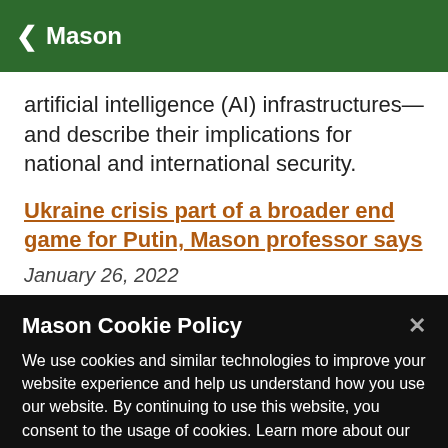Mason
artificial intelligence (AI) infrastructures—and describe their implications for national and international security.
Ukraine crisis part of a broader end game for Putin, Mason professor says
January 26, 2022
For Russian President Vladimir Putin, the Cold W...
Mason Cookie Policy
We use cookies and similar technologies to improve your website experience and help us understand how you use our website. By continuing to use this website, you consent to the usage of cookies. Learn more about our Cookie Policy
Cookie Preferences
Accept Cookies